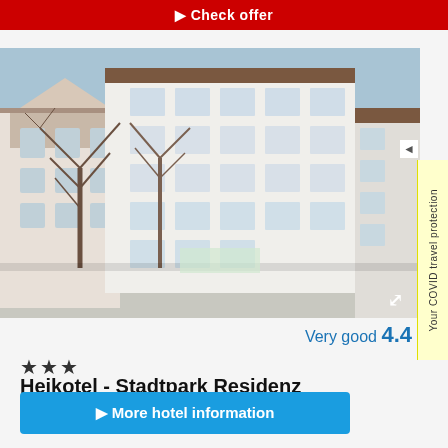Check offer
[Figure (photo): Exterior photo of Heikotel - Stadtpark Residenz hotel building, showing a multi-story white building with European architecture, bare winter trees in foreground, neighboring buildings visible on left side.]
Very good 4.4
★★★
Heikotel - Stadtpark Residenz
4.6 km / Show on map ›
▶ More hotel information